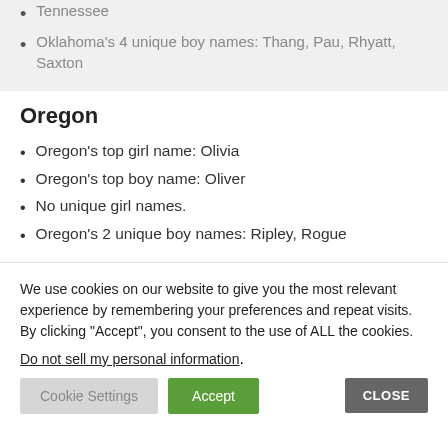Tennessee
Oklahoma's 4 unique boy names: Thang, Pau, Rhyatt, Saxton
Oregon
Oregon's top girl name: Olivia
Oregon's top boy name: Oliver
No unique girl names.
Oregon's 2 unique boy names: Ripley, Rogue
We use cookies on our website to give you the most relevant experience by remembering your preferences and repeat visits. By clicking “Accept”, you consent to the use of ALL the cookies.
Do not sell my personal information.